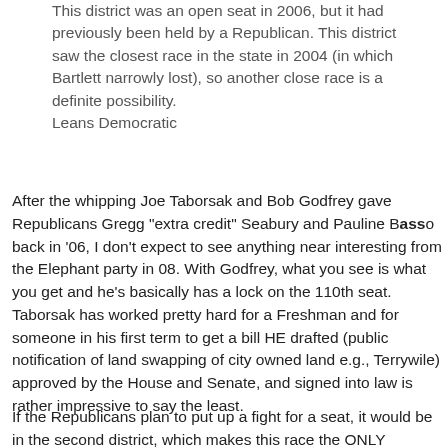This district was an open seat in 2006, but it had previously been held by a Republican. This district saw the closest race in the state in 2004 (in which Bartlett narrowly lost), so another close race is a definite possibility.
Leans Democratic
After the whipping Joe Taborsak and Bob Godfrey gave Republicans Gregg "extra credit" Seabury and Pauline Basso back in '06, I don't expect to see anything near interesting from the Elephant party in 08. With Godfrey, what you see is what you get and he's basically has a lock on the 110th seat. Taborsak has worked pretty hard for a Freshman and for someone in his first term to get a bill HE drafted (public notification of land swapping of city owned land e.g., Terrywile) approved by the House and Senate, and signed into law is rather impressive to say the least.
If the Republicans plan to put up a fight for a seat, it would be in the second district, which makes this race the ONLY